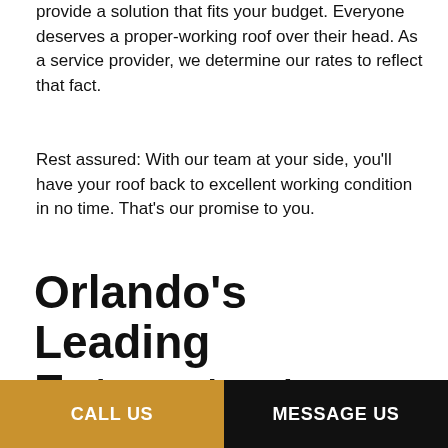provide a solution that fits your budget. Everyone deserves a proper-working roof over their head. As a service provider, we determine our rates to reflect that fact.
Rest assured: With our team at your side, you’ll have your roof back to excellent working condition in no time. That’s our promise to you.
Orlando’s Leading Emergency Roofing Company
Get in Touch Today
Don’t hesitate to get in touch with us for immediate assistance. Fast, professional, dependable—our team is
CALL US | MESSAGE US